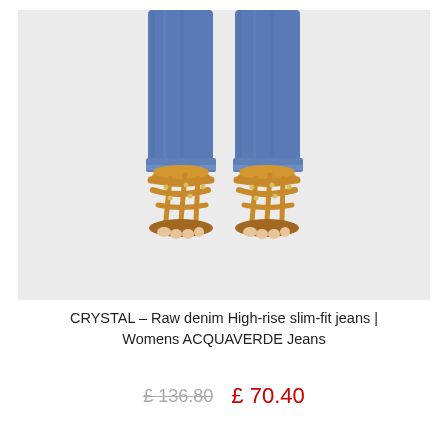[Figure (photo): Photo of a person's lower legs wearing blue slim-fit jeans and tan studded gladiator sandals, against a light grey background.]
CRYSTAL – Raw denim High-rise slim-fit jeans | Womens ACQUAVERDE Jeans
£ 136.80   £ 70.40